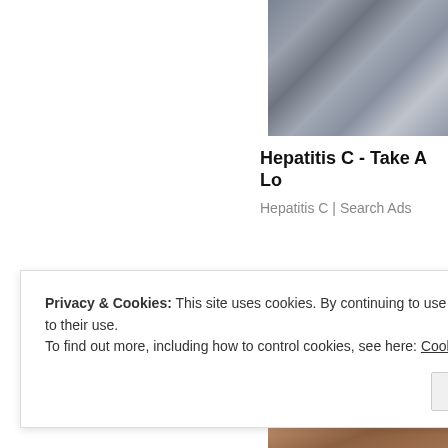[Figure (photo): Close-up photo of grey fabric or bed sheets with folds and wrinkles, positioned in upper right]
Hepatitis C - Take A Lo
Hepatitis C | Search Ads
[Figure (photo): Close-up photo of brown skin texture, possibly elderly person's neck or skin, positioned in lower right]
Privacy & Cookies: This site uses cookies. By continuing to use this website, you agree to their use.
To find out more, including how to control cookies, see here: Cookie Policy
Close and accept